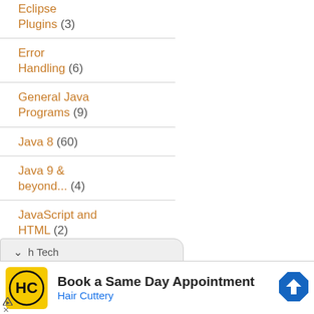Eclipse Plugins (3)
Error Handling (6)
General Java Programs (9)
Java 8 (60)
Java 9 & beyond... (4)
JavaScript and HTML (2)
JPA (6)
[Figure (screenshot): Dropdown UI element with chevron and 'h Tech' label]
[Figure (screenshot): Advertisement banner: Hair Cuttery - Book a Same Day Appointment with logo and navigation icon]